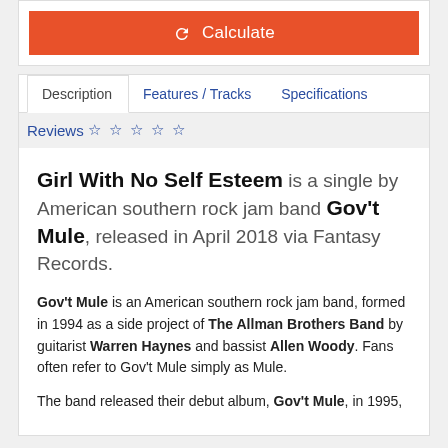[Figure (screenshot): Orange Calculate button with refresh/recalculate icon]
Description | Features / Tracks | Specifications
Reviews ☆☆☆☆☆
Girl With No Self Esteem is a single by American southern rock jam band Gov't Mule, released in April 2018 via Fantasy Records.
Gov't Mule is an American southern rock jam band, formed in 1994 as a side project of The Allman Brothers Band by guitarist Warren Haynes and bassist Allen Woody. Fans often refer to Gov't Mule simply as Mule.
The band released their debut album, Gov't Mule, in 1995,